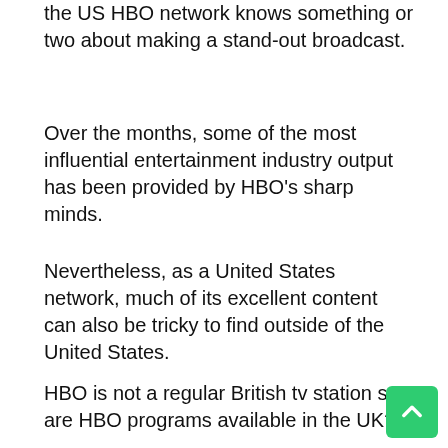the US HBO network knows something or two about making a stand-out broadcast.
Over the months, some of the most influential entertainment industry output has been provided by HBO's sharp minds.
Nevertheless, as a United States network, much of its excellent content can also be tricky to find outside of the United States.
HBO is not a regular British tv station so are HBO programs available in the UK?